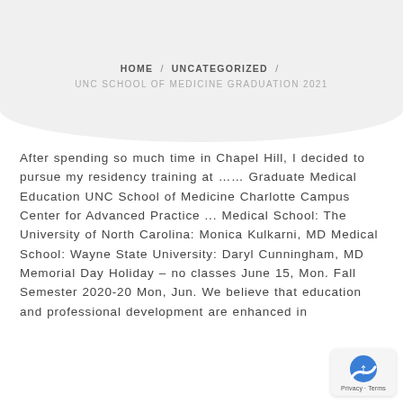HOME / UNCATEGORIZED / UNC SCHOOL OF MEDICINE GRADUATION 2021
After spending so much time in Chapel Hill, I decided to pursue my residency training at …… Graduate Medical Education UNC School of Medicine Charlotte Campus Center for Advanced Practice ... Medical School: The University of North Carolina: Monica Kulkarni, MD Medical School: Wayne State University: Daryl Cunningham, MD Memorial Day Holiday – no classes June 15, Mon. Fall Semester 2020-20 Mon, Jun. We believe that education and professional development are enhanced in